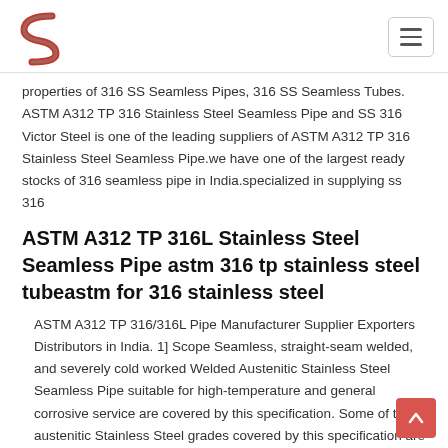Victor Steel logo and navigation
properties of 316 SS Seamless Pipes, 316 SS Seamless Tubes. ASTM A312 TP 316 Stainless Steel Seamless Pipe and SS 316 Victor Steel is one of the leading suppliers of ASTM A312 TP 316 Stainless Steel Seamless Pipe.we have one of the largest ready stocks of 316 seamless pipe in India.specialized in supplying ss 316
ASTM A312 TP 316L Stainless Steel Seamless Pipe astm 316 tp stainless steel tubeastm for 316 stainless steel
ASTM A312 TP 316/316L Pipe Manufacturer Supplier Exporters Distributors in India. 1] Scope Seamless, straight-seam welded, and severely cold worked Welded Austenitic Stainless Steel Seamless Pipe suitable for high-temperature and general corrosive service are covered by this specification. Some of the austenitic Stainless Steel grades covered by this specification are accepted by certain astm 316 tp stainless steel tubeastm for